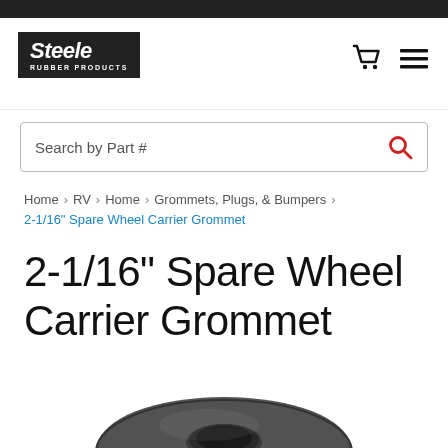[Figure (logo): Steele Rubber Products logo — black rectangle with white italic bold text 'Steele' and smaller text 'RUBBER PRODUCTS']
[Figure (other): Shopping cart icon and hamburger menu icon in top right of header]
Search by Part #
Home > RV > Home > Grommets, Plugs, & Bumpers >
2-1/16" Spare Wheel Carrier Grommet
2-1/16" Spare Wheel Carrier Grommet
[Figure (photo): Dark gray rubber grommet with a center hole, donut/washer shaped, photographed from above on a white background]